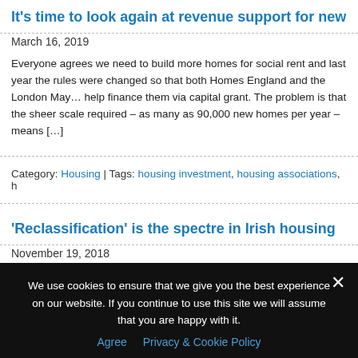It's time to look again at revenue support for new
March 16, 2019
Everyone agrees we need to build more homes for social rent and last year the rules were changed so that both Homes England and the London May… help finance them via capital grant. The problem is that the sheer scale required – as many as 90,000 new homes per year – means [...]
Category: Housing | Tags: housing investment, housing associations, h
'Reclassification' is the spectre in Irish housing
November 19, 2018
Irish housing associations ('approved housing bodies') have had their...
We use cookies to ensure that we give you the best experience on our website. If you continue to use this site we will assume that you are happy with it.
Agree  Privacy & Cookie Policy